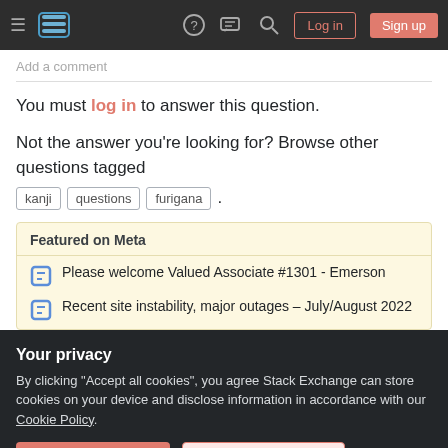Stack Exchange navigation bar with hamburger menu, logo, help, chat, search icons, Log in and Sign up buttons
Add a comment
You must log in to answer this question.
Not the answer you're looking for? Browse other questions tagged kanji questions furigana .
Featured on Meta
Please welcome Valued Associate #1301 - Emerson
Recent site instability, major outages – July/August 2022
Your privacy
By clicking "Accept all cookies", you agree Stack Exchange can store cookies on your device and disclose information in accordance with our Cookie Policy.
Accept all cookies
Customize settings